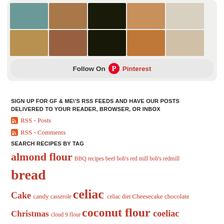[Figure (screenshot): Pinterest image collage showing baked goods and food photos arranged in a grid]
Follow On Pinterest
SIGN UP FOR GF & ME\'S RSS FEEDS AND HAVE OUR POSTS DELIVERED TO YOUR READER, BROWSER, OR INBOX
RSS - Posts
RSS - Comments
SEARCH RECIPES BY TAG
almond flour BBQ recipes beef bob's red mill bob's redmill bread Cake candy casserole celiac celiac diet Cheesecake chocolate Christmas cloud 9 flour coconut flour coeliac cookies Cup 4 Cup dairy free